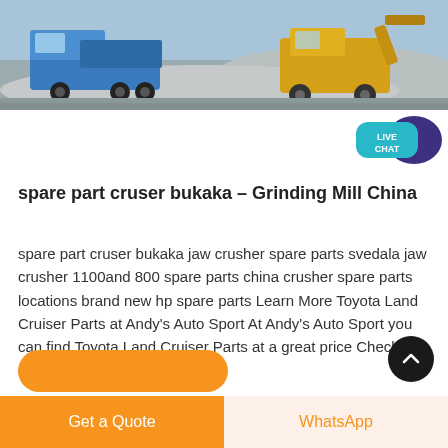[Figure (photo): A blue dump truck and a yellow construction loader/excavator on a gravel/mining site with gray stone aggregate in the background.]
[Figure (other): Live Chat speech bubble icon in teal/cyan color with dark purple chat bubble behind it, showing text LIVE CHAT]
spare part cruser bukaka – Grinding Mill China
spare part cruser bukaka jaw crusher spare parts svedala jaw crusher 1100and 800 spare parts china crusher spare parts locations brand new hp spare parts Learn More Toyota Land Cruiser Parts at Andy's Auto Sport At Andy's Auto Sport you can find Toyota Land Cruiser Parts at a great price Check out our Land Cruiser Parts today!
Get a Quote
WhatsApp